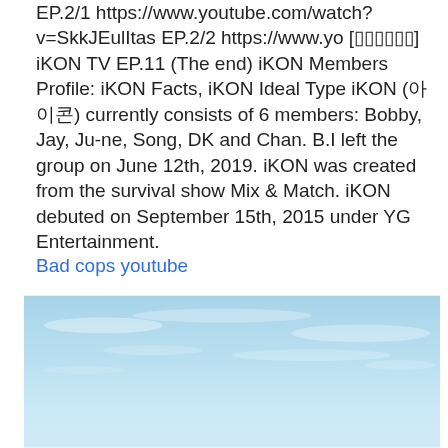EP.2/1 https://www.youtube.com/watch?v=SkkJEulItas EP.2/2 https://www.yo [??????] iKON TV EP.11 (The end) iKON Members Profile: iKON Facts, iKON Ideal Type iKON (아이콘) currently consists of 6 members: Bobby, Jay, Ju-ne, Song, DK and Chan. B.I left the group on June 12th, 2019. iKON was created from the survival show Mix & Match. iKON debuted on September 15th, 2015 under YG Entertainment.
Bad cops youtube
[Figure (photo): Photo of a light blue sky with thin clouds, landscape orientation]